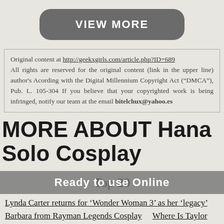VIEW MORE
Original content at http://geekxgirls.com/article.php?ID=689 All rights are reserved for the original content (link in the upper line) author's Acording with the Digital Millennium Copyright Act (“DMCA”), Pub. L. 105-304 If you believe that your copyrighted work is being infringed, notify our team at the email bitelchux@yahoo.es
MORE ABOUT Hana Solo Cosplay
Top 20
Lynda Carter returns for ‘Wonder Woman 3’ as her ‘legacy’    Barbara from Rayman Legends Cosplay    Where Is Taylor Swift’s Scarf? ‘All Too Well’ Virginity Metaphor Explained    The 15 Best
Ready to use Online